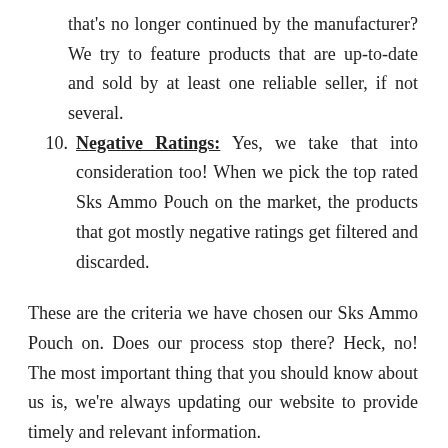that's no longer continued by the manufacturer? We try to feature products that are up-to-date and sold by at least one reliable seller, if not several.
10. Negative Ratings: Yes, we take that into consideration too! When we pick the top rated Sks Ammo Pouch on the market, the products that got mostly negative ratings get filtered and discarded.
These are the criteria we have chosen our Sks Ammo Pouch on. Does our process stop there? Heck, no! The most important thing that you should know about us is, we're always updating our website to provide timely and relevant information.